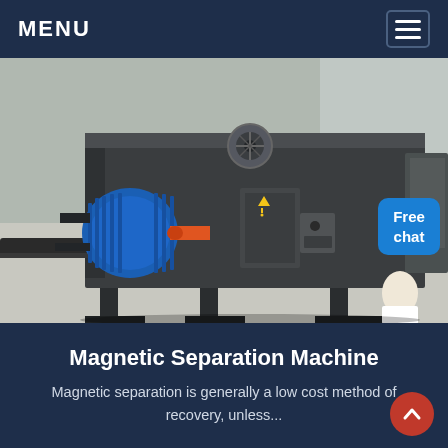MENU
[Figure (photo): Industrial magnetic separation machine with blue electric motor mounted on left side, large dark grey metal housing, on a concrete factory floor]
Magnetic Separation Machine
Magnetic separation is generally a low cost method of recovery, unless...